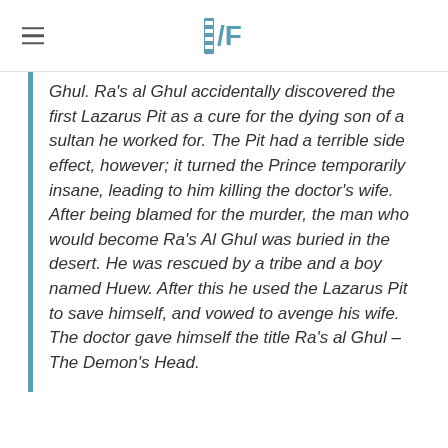/Film
Ghul. Ra's al Ghul accidentally discovered the first Lazarus Pit as a cure for the dying son of a sultan he worked for. The Pit had a terrible side effect, however; it turned the Prince temporarily insane, leading to him killing the doctor's wife. After being blamed for the murder, the man who would become Ra's Al Ghul was buried in the desert. He was rescued by a tribe and a boy named Huew. After this he used the Lazarus Pit to save himself, and vowed to avenge his wife. The doctor gave himself the title Ra's al Ghul – The Demon's Head.